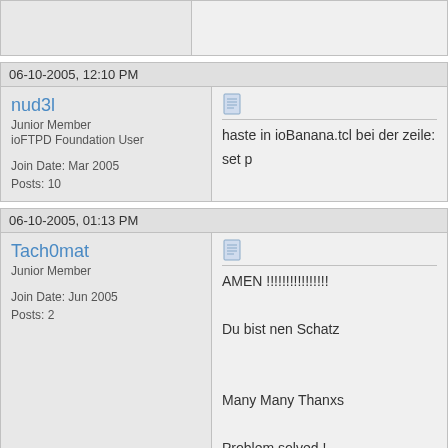[top stub - partial post]
06-10-2005, 12:10 PM
nud3l
Junior Member
ioFTPD Foundation User
Join Date: Mar 2005
Posts: 10
haste in ioBanana.tcl bei der zeile: set p
06-10-2005, 01:13 PM
Tach0mat
Junior Member
Join Date: Jun 2005
Posts: 2
AMEN !!!!!!!!!!!!!!!!

Du bist nen Schatz


Many Many Thanxs

Problem solved !